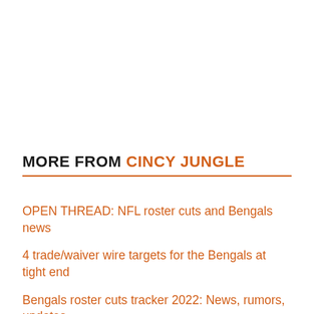MORE FROM CINCY JUNGLE
OPEN THREAD: NFL roster cuts and Bengals news
4 trade/waiver wire targets for the Bengals at tight end
Bengals roster cuts tracker 2022: News, rumors, updates, trades, and more
Film Room: Hakeem Adeniji impresses vs. Rams
Bengals News (8/29): Making the cut
Final Bengals 53-player roster projection